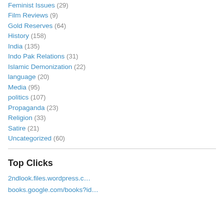Feminist Issues (29)
Film Reviews (9)
Gold Reserves (64)
History (158)
India (135)
Indo Pak Relations (31)
Islamic Demonization (22)
language (20)
Media (95)
politics (107)
Propaganda (23)
Religion (33)
Satire (21)
Uncategorized (60)
Top Clicks
2ndlook.files.wordpress.c…
books.google.com/books?id…